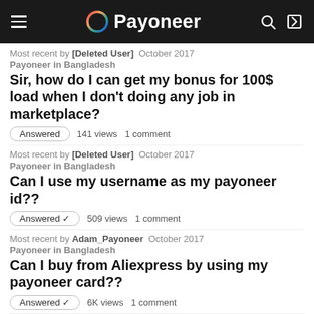Payoneer
Most recent by [Deleted User]  October 2017
Payoneer in Bangladesh
Sir, how do I can get my bonus for 100$ load when I don't doing any job in marketplace?
Answered  141 views  1 comment
Most recent by [Deleted User]  October 2017
Payoneer in Bangladesh
Can I use my username as my payoneer id??
Answered ✓  509 views  1 comment
Most recent by Adam_Payoneer  October 2017
Payoneer in Bangladesh
Can I buy from Aliexpress by using my payoneer card??
Answered ✓  6K views  1 comment
Most recent by [Deleted User]  October 2017
Payoneer in Bangladesh